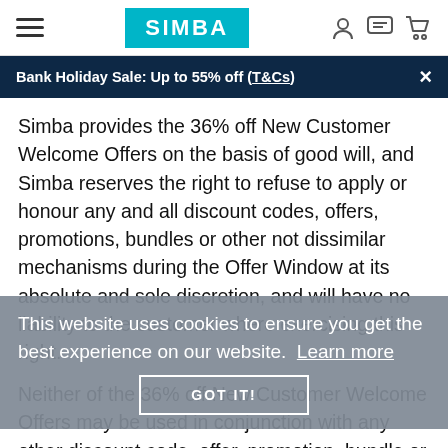SIMBA — Bank Holiday Sale: Up to 55% off (T&Cs)
Simba provides the 36% off New Customer Welcome Offers on the basis of good will, and Simba reserves the right to refuse to apply or honour any and all discount codes, offers, promotions, bundles or other not dissimilar mechanisms during the Offer Window at its absolute and sole discretion, and will have no liability to the customer where exercising this right.
This website uses cookies to ensure you get the best experience on our website.  Learn more  GOT IT!
Neither of the 36% off New Customer Welcome Offers may be used in conjunction with any other discount code, offer, promotion, bundle or other not dissimilar mechanism, including, but not